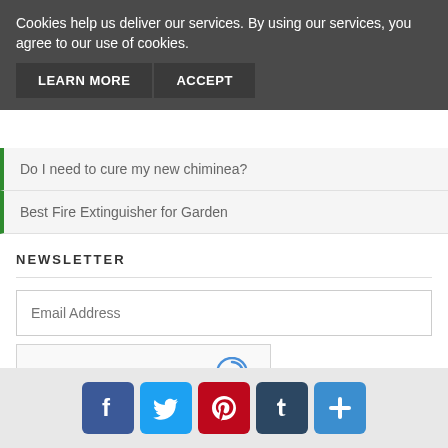Cookies help us deliver our services. By using our services, you agree to our use of cookies.
LEARN MORE  ACCEPT
Do I need to cure my new chiminea?
Best Fire Extinguisher for Garden
NEWSLETTER
Email Address
[Figure (other): reCAPTCHA widget with checkbox labeled 'I'm not a robot', reCAPTCHA logo, Privacy and Terms links]
SUBSCRIBE
[Figure (other): Social media icons row: Facebook, Twitter, Pinterest, Tumblr, and a plus/share icon]